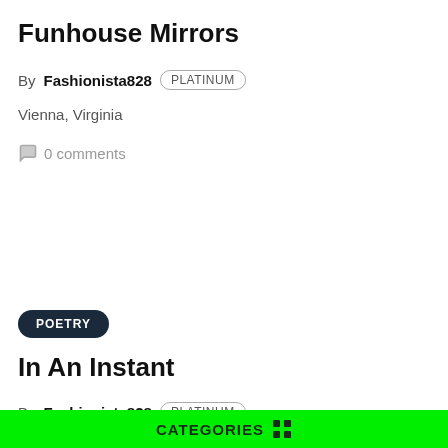Funhouse Mirrors
By Fashionista828 PLATINUM
Vienna, Virginia
0 comments
POETRY
In An Instant
By Fashionista828 PLATINUM
CATEGORIES